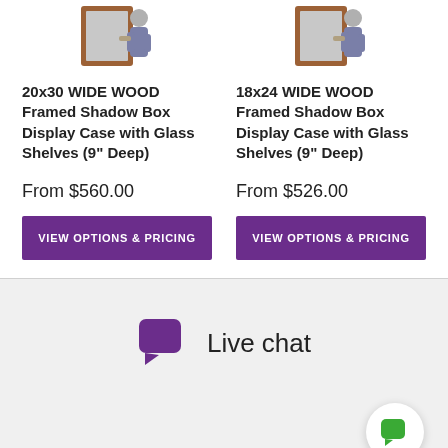[Figure (photo): Product image of 20x30 WIDE WOOD Framed Shadow Box Display Case with person opening the case]
20x30 WIDE WOOD Framed Shadow Box Display Case with Glass Shelves (9" Deep)
From $560.00
VIEW OPTIONS & PRICING
[Figure (photo): Product image of 18x24 WIDE WOOD Framed Shadow Box Display Case with person opening the case]
18x24 WIDE WOOD Framed Shadow Box Display Case with Glass Shelves (9" Deep)
From $526.00
VIEW OPTIONS & PRICING
Live chat
[Figure (illustration): Green chat bubble icon for live chat widget in bottom right corner]